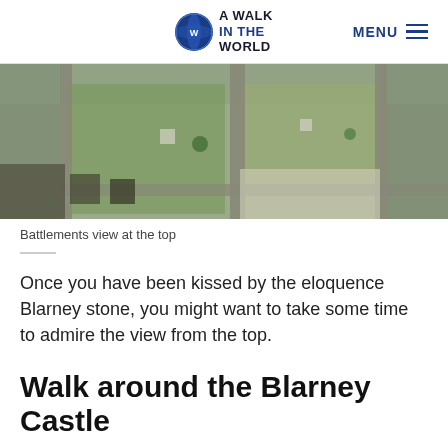A Walk In The World | MENU
[Figure (photo): Aerial/bird's-eye view of Blarney Castle battlements showing stone walls, green grassy courtyard areas, and castle ruins from above]
Battlements view at the top
Once you have been kissed by the eloquence Blarney stone, you might want to take some time to admire the view from the top.
Walk around the Blarney Castle